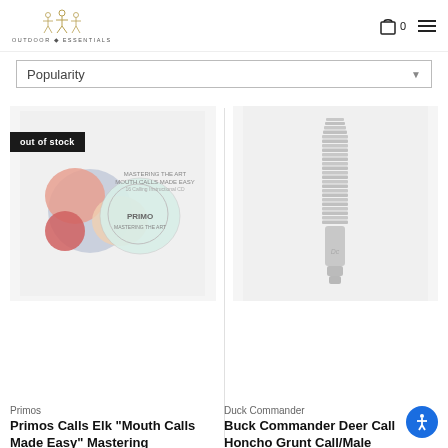OUTDOOR ESSENTIALS
Popularity
[Figure (photo): Product image of Primos Calls Elk Mouth Calls Made Easy Mastering - showing colorful elk mouth calls and a CD with Primo branding, with out of stock badge]
out of stock
Primos
Primos Calls Elk "Mouth Calls Made Easy" Mastering
C$26.00
[Figure (photo): Product image of Buck Commander Deer Call Honcho Grunt Call/Male - a grey ribbed grunt call tube]
Duck Commander
Buck Commander Deer Call Honcho Grunt Call/Male
C$18.00